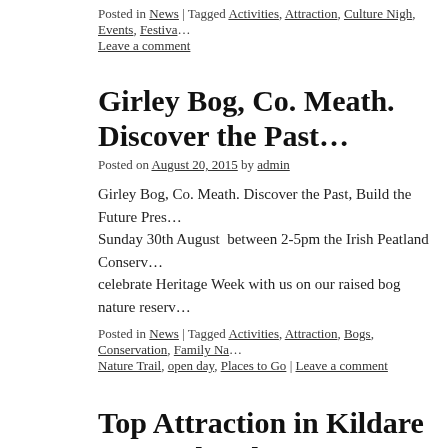Posted in News | Tagged Activities, Attraction, Culture Nigh, Events, Festival… Leave a comment
Girley Bog, Co. Meath. Discover the Past…
Posted on August 20, 2015 by admin
Girley Bog, Co. Meath. Discover the Past, Build the Future Pres… Sunday 30th August  between 2-5pm the Irish Peatland Conserv… celebrate Heritage Week with us on our raised bog nature reserv…
Posted in News | Tagged Activities, Attraction, Bogs, Conservation, Family Na… Nature Trail, open day, Places to Go | Leave a comment
Top Attraction in Kildare restored and to… Heritage Week
Posted on August 16, 2015 by admin
Press Release: 17th August 2015: Top bog attraction in Kildare… during Heritage Week The only part of the Bog of Allen protecte…